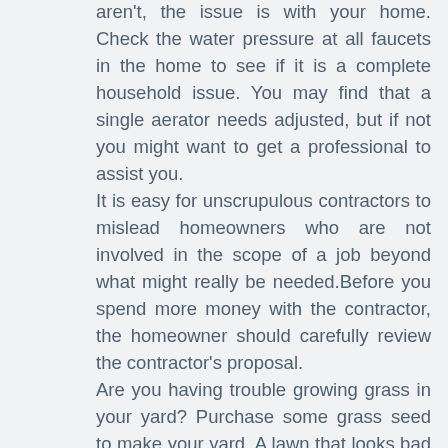aren't, the issue is with your home. Check the water pressure at all faucets in the home to see if it is a complete household issue. You may find that a single aerator needs adjusted, but if not you might want to get a professional to assist you.
It is easy for unscrupulous contractors to mislead homeowners who are not involved in the scope of a job beyond what might really be needed.Before you spend more money with the contractor, the homeowner should carefully review the contractor's proposal.
Are you having trouble growing grass in your yard? Purchase some grass seed to make your yard. A lawn that looks bad will make your yard. Make your lawn is looking its best.
By now, you should understand that anyone can